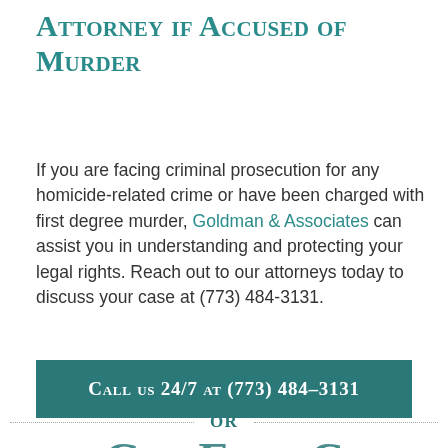Attorney if Accused of Murder
If you are facing criminal prosecution for any homicide-related crime or have been charged with first degree murder, Goldman & Associates can assist you in understanding and protecting your legal rights. Reach out to our attorneys today to discuss your case at (773) 484-3131.
Call us 24/7 at (773) 484-3131
OR